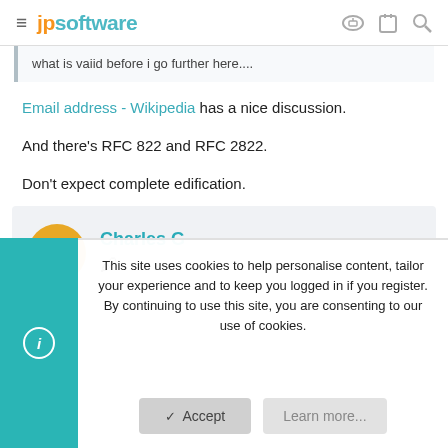jpsoftware
what is vaiid before i go further here....
Email address - Wikipedia has a nice discussion.
And there's RFC 822 and RFC 2822.
Don't expect complete edification.
Charles G
This site uses cookies to help personalise content, tailor your experience and to keep you logged in if you register. By continuing to use this site, you are consenting to our use of cookies.
Accept
Learn more...